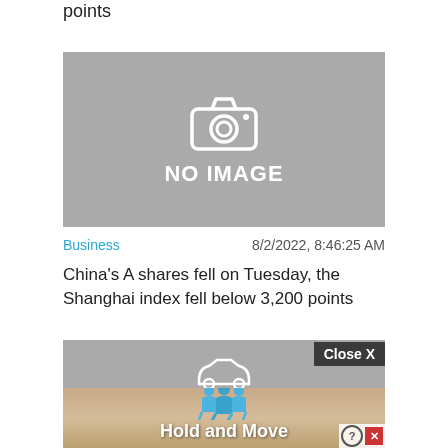points
[Figure (photo): No image placeholder with camera icon and 'NO IMAGE' text on gray background]
Business    8/2/2022, 8:46:25 AM
China's A shares fell on Tuesday, the Shanghai index fell below 3,200 points
[Figure (screenshot): Partial image of ad with 'Hold and Move' text and 'Close X' button overlay, with help/close buttons]